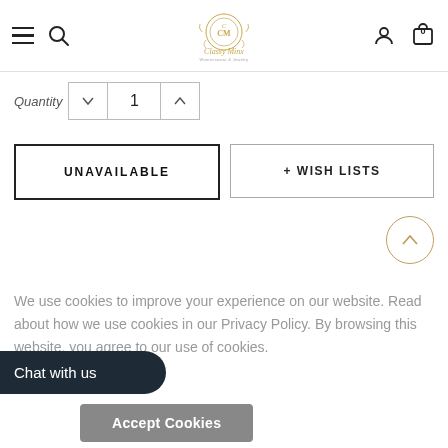Classy Minx navigation header with hamburger, search, logo, user and bag icons
Quantity (stepper control showing 1)
UNAVAILABLE
+ WISH LISTS
We use cookies to improve your experience on our website. Read about how we use cookies in our Privacy Policy. By browsing this website, you agree to our use of cookies.
Chat with us
Accept Cookies